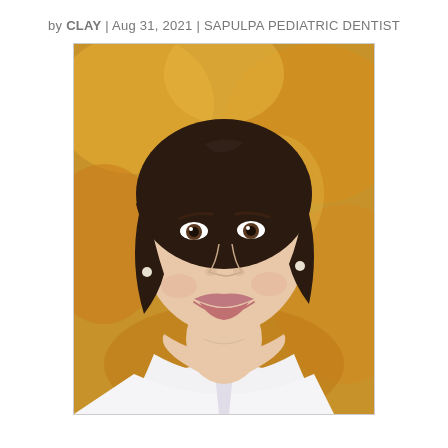by CLAY | Aug 31, 2021 | SAPULPA PEDIATRIC DENTIST
[Figure (photo): Professional headshot of a smiling woman with brown bob-length hair, wearing a white collared shirt, photographed against a warm orange/golden blurred autumn background.]